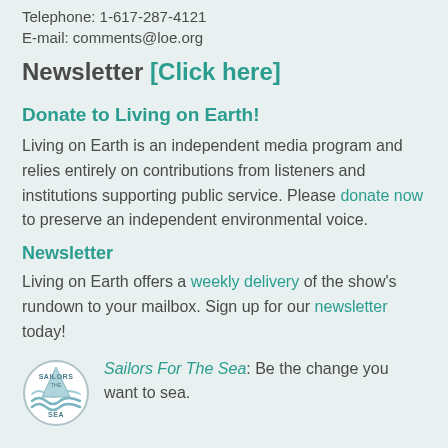Telephone: 1-617-287-4121
E-mail: comments@loe.org
Newsletter [Click here]
Donate to Living on Earth!
Living on Earth is an independent media program and relies entirely on contributions from listeners and institutions supporting public service. Please donate now to preserve an independent environmental voice.
Newsletter
Living on Earth offers a weekly delivery of the show's rundown to your mailbox. Sign up for our newsletter today!
Sailors For The Sea: Be the change you want to sea.